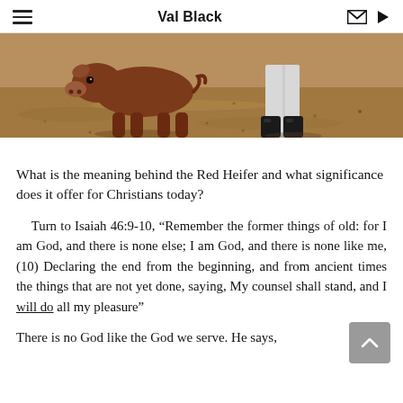Val Black
[Figure (photo): A brown calf standing next to a person wearing boots and light-colored pants, on a dirt ground]
What is the meaning behind the Red Heifer and what significance does it offer for Christians today?
Turn to Isaiah 46:9-10, “Remember the former things of old: for I am God, and there is none else; I am God, and there is none like me, (10) Declaring the end from the beginning, and from ancient times the things that are not yet done, saying, My counsel shall stand, and I will do all my pleasure”
There is no God like the God we serve. He says,